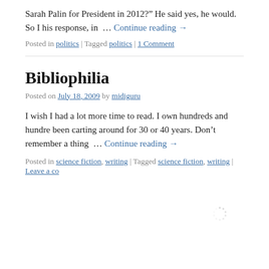Sarah Palin for President in 2012?” He said yes, he would. So his response, in … Continue reading →
Posted in politics | Tagged politics | 1 Comment
Bibliophilia
Posted on July 18, 2009 by midiguru
I wish I had a lot more time to read. I own hundreds and hundreds of books I’ve been carting around for 30 or 40 years. Don’t remember a thing about most of them. … Continue reading →
Posted in science fiction, writing | Tagged science fiction, writing | Leave a comment
[Figure (other): Loading spinner icon]